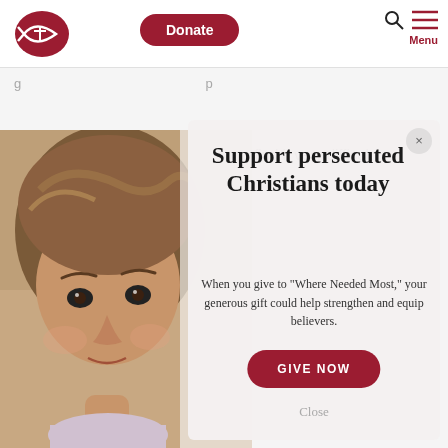[Figure (logo): Open Doors fish/cross logo in dark red]
Donate
[Figure (other): Search icon and hamburger menu icon with Menu label in dark red]
Daniela and her brother, Sebastian, find it very difficult
[Figure (photo): Close-up photo of a young girl with brown hair looking at the camera, wearing a light purple turtleneck]
Support persecuted Christians today
When you give to "Where Needed Most," your generous gift could help strengthen and equip believers.
GIVE NOW
Close